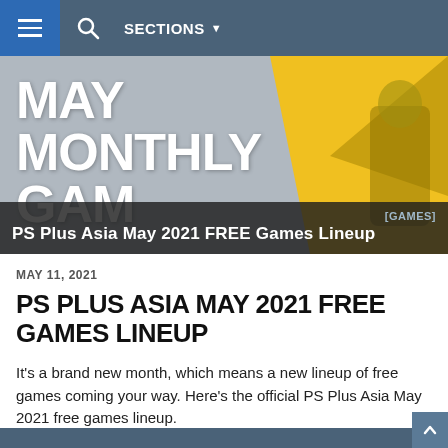SECTIONS
[Figure (screenshot): Hero banner image with 'MAY MONTHLY GAMES' text on a grey/yellow background with a gaming character visible on the right. Overlay shows '[GAMES] PS Plus Asia May 2021 FREE Games Lineup']
MAY 11, 2021
PS PLUS ASIA MAY 2021 FREE GAMES LINEUP
It's a brand new month, which means a new lineup of free games coming your way. Here's the official PS Plus Asia May 2021 free games lineup.
11834